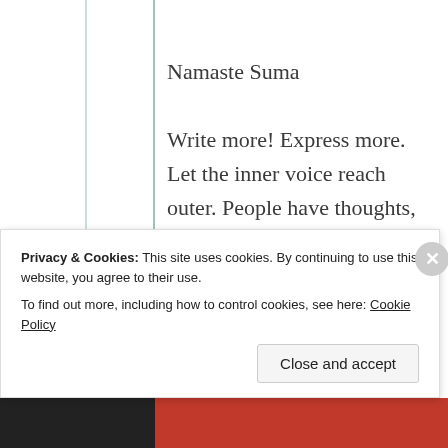Namaste Suma

Write more! Express more. Let the inner voice reach outer. People have thoughts, inner voice, but not all can express. You have excellent language of expression. That I personally felt.

Have a wonderful time
Privacy & Cookies: This site uses cookies. By continuing to use this website, you agree to their use. To find out more, including how to control cookies, see here: Cookie Policy